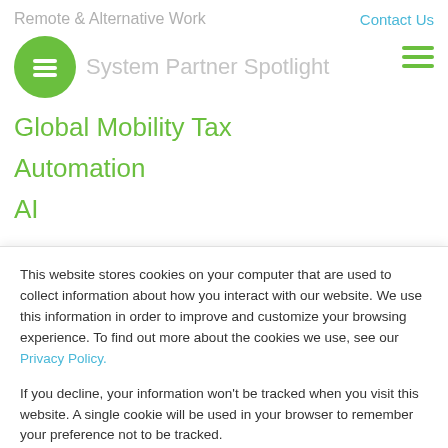Remote & Alternative Work
Contact Us
[Figure (logo): Green circular logo with white horizontal lines (equals-like symbol)]
System Partner Spotlight
Global Mobility Tax
Automation
AI
This website stores cookies on your computer that are used to collect information about how you interact with our website. We use this information in order to improve and customize your browsing experience. To find out more about the cookies we use, see our Privacy Policy.
If you decline, your information won’t be tracked when you visit this website. A single cookie will be used in your browser to remember your preference not to be tracked.